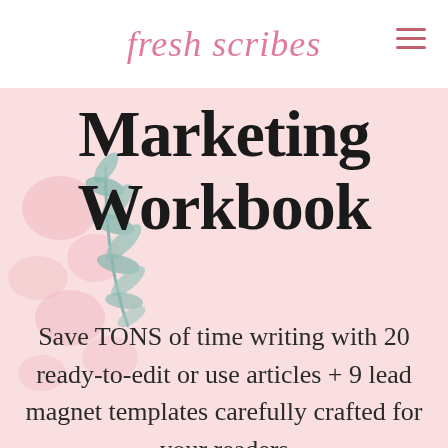fresh scribes
Marketing Workbook
Save TONS of time writing with 20 ready-to-edit or use articles + 9 lead magnet templates carefully crafted for your readers